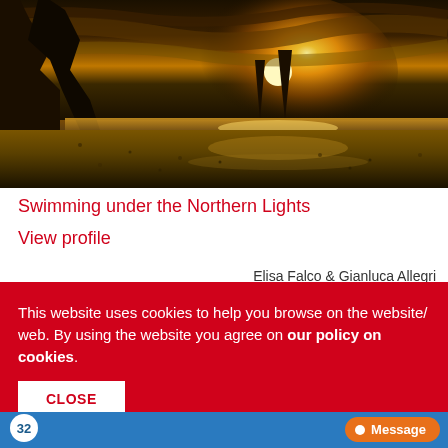[Figure (photo): Sunset over a dark sandy beach with dramatic rock formations silhouetted against a golden glowing sky, sun rays bursting through clouds, wet sand reflecting light in foreground]
Swimming under the Northern Lights
View profile
Elisa Falco & Gianluca Allegri
This website uses cookies to help you browse on the website/ web. By using the website you agree on our policy on cookies.
CLOSE
32
Message